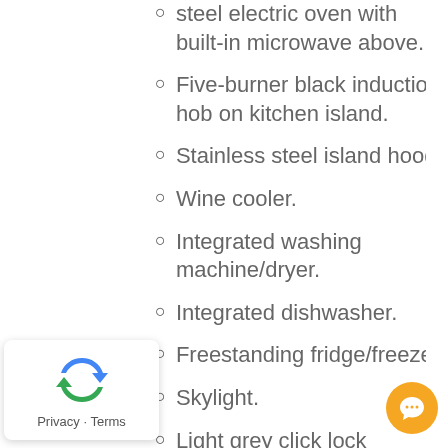steel electric oven with built-in microwave above.
Five-burner black induction hob on kitchen island.
Stainless steel island hood.
Wine cooler.
Integrated washing machine/dryer.
Integrated dishwasher.
Freestanding fridge/freezer.
Skylight.
Light grey click lock flooring.